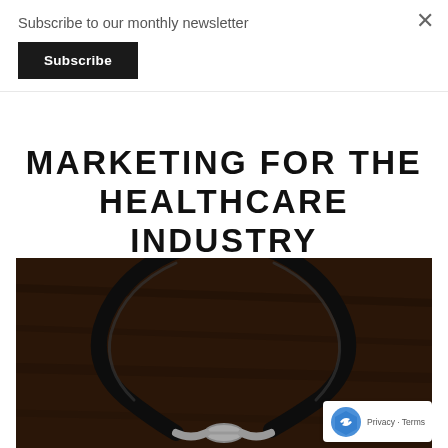Subscribe to our monthly newsletter
Subscribe
MARKETING FOR THE HEALTHCARE INDUSTRY
[Figure (photo): Close-up photo of a black stethoscope on a dark wooden surface, showing the earpiece Y-junction and tubing arching upward.]
Privacy · Terms